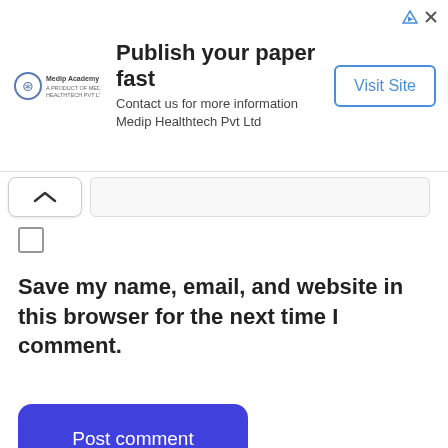[Figure (other): Advertisement banner: Medip Academy logo, 'Publish your paper fast' heading, 'Contact us for more information Medip Healthtech Pvt Ltd' subtitle, and 'Visit Site' button. Corner icons for ad disclosure.]
[Figure (other): Collapse/chevron button and input field bar]
[Figure (other): Checkbox (unchecked square)]
Save my name, email, and website in this browser for the next time I comment.
[Figure (other): Post comment button (blue rounded rectangle)]
This website uses cookies to improve your experience. We'll assume you're ok with this, but you can opt-out if you wish. Cookie settings ACCEPT